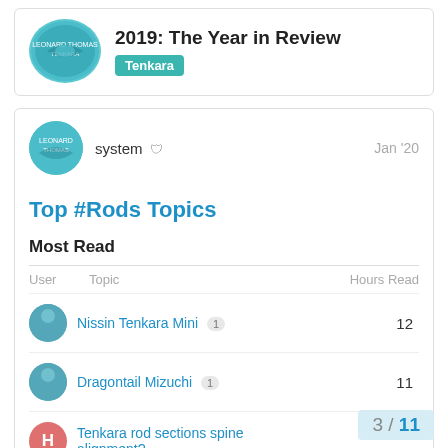2019: The Year in Review
Tenkara
system  Jan '20
Top #Rods Topics
Most Read
| User | Topic | Hours Read |
| --- | --- | --- |
|  | Nissin Tenkara Mini 1 | 12 |
|  | Dragontail Mizuchi 1 | 11 |
| H | Tenkara rod sections spine alignment? |  |
3 / 11